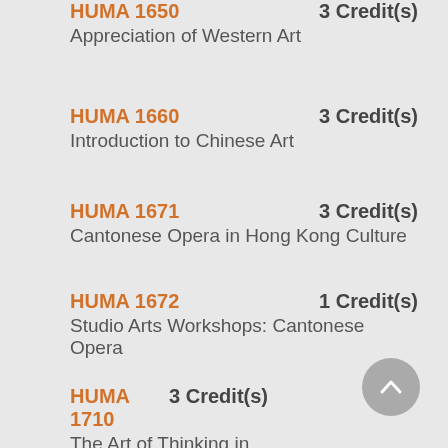HUMA 1650 | 3 Credit(s) | Appreciation of Western Art
HUMA 1660 | 3 Credit(s) | Introduction to Chinese Art
HUMA 1671 | 3 Credit(s) | Cantonese Opera in Hong Kong Culture
HUMA 1672 | 1 Credit(s) | Studio Arts Workshops: Cantonese Opera
HUMA 1710 | 3 Credit(s) | The Art of Thinking in the Hong Kong Context